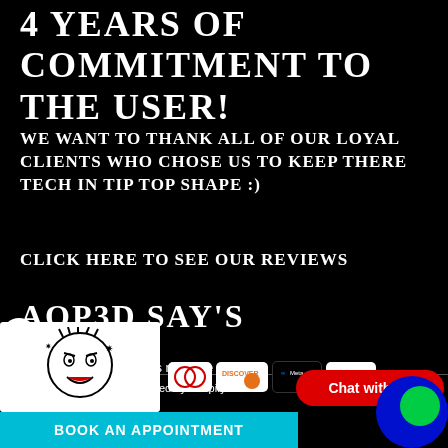4 YEARS OF COMMITMENT TO THE USER!
WE WANT TO THANK ALL OF OUR LOYAL CLIENTS WHO CHOSE US TO KEEP THERE TECH IN TIP TOP SHAPE :)
CLICK HERE TO SEE OUR REVIEWS
AOP3D SAY'S
support businesses near me
© AOP3D tech. Powered by Shopify
[Figure (logo): Cartoon angry face logo in white on white background]
[Figure (other): Payment method icons: Diners Club, Discover, Meta Pay, Lay-Buy]
[Figure (other): Red Chat with us button]
BOOK AN APPOINTMENT